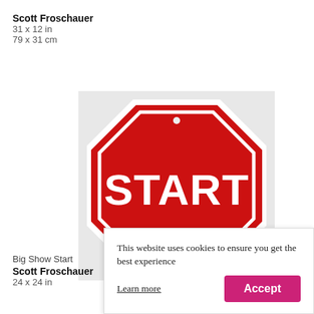Scott Froschauer
31 x 12 in
79 x 31 cm
[Figure (photo): A red octagonal sign shaped like a stop sign with the word START printed in white bold letters, with a small hole at the top center, white border around the edge, displayed against a light gray background.]
Big Show Start
Scott Froschauer
24 x 24 in
This website uses cookies to ensure you get the best experience Learn more  Accept